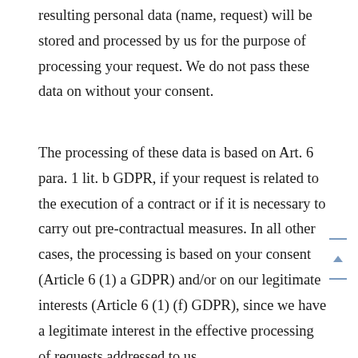resulting personal data (name, request) will be stored and processed by us for the purpose of processing your request. We do not pass these data on without your consent.
The processing of these data is based on Art. 6 para. 1 lit. b GDPR, if your request is related to the execution of a contract or if it is necessary to carry out pre-contractual measures. In all other cases, the processing is based on your consent (Article 6 (1) a GDPR) and/or on our legitimate interests (Article 6 (1) (f) GDPR), since we have a legitimate interest in the effective processing of requests addressed to us.